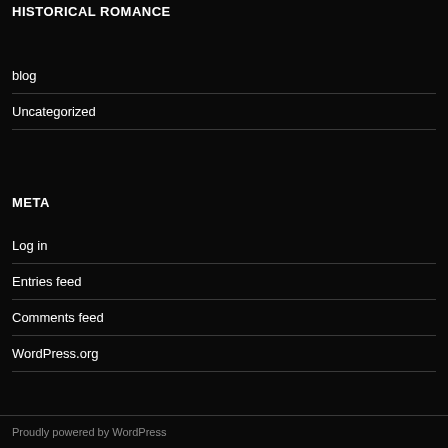HISTORICAL ROMANCE
blog
Uncategorized
META
Log in
Entries feed
Comments feed
WordPress.org
Proudly powered by WordPress